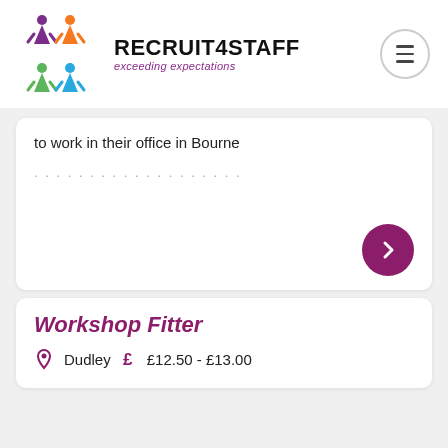[Figure (logo): Recruit4Staff logo with colorful star/person icons and brand name]
to work in their office in Bourne
.....................
Workshop Fitter
Dudley  £  £12.50 - £13.00